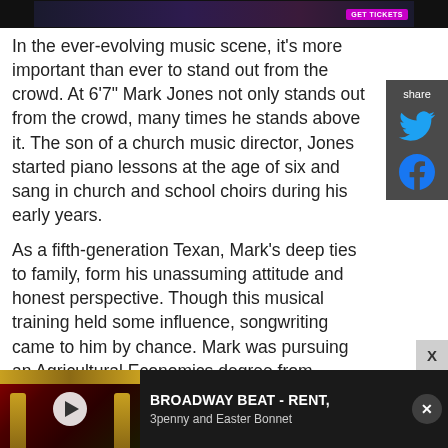[Figure (photo): Top banner image of a concert/performance scene with a purple-toned stage backdrop and a 'GET TICKETS' button]
In the ever-evolving music scene, it's more important than ever to stand out from the crowd. At 6'7" Mark Jones not only stands out from the crowd, many times he stands above it. The son of a church music director, Jones started piano lessons at the age of six and sang in church and school choirs during his early years.
As a fifth-generation Texan, Mark's deep ties to family, form his unassuming attitude and honest perspective. Though this musical training held some influence, songwriting came to him by chance. Mark was pursuing an Agricultural Economics degree from
[Figure (screenshot): Video ad bar at bottom: Broadway Beat - RENT, 3penny and Easter Bonnet with theater thumbnail and play button]